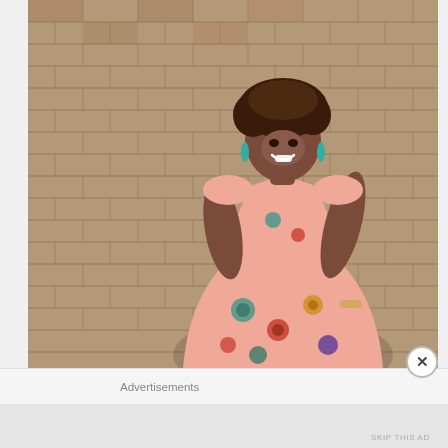[Figure (photo): A smiling Black woman with curly hair wearing a pink floral sleeveless dress, standing in front of a brick wall. She has teal drop earrings and is posing dynamically.]
Advertisements
SKIP THIS AD